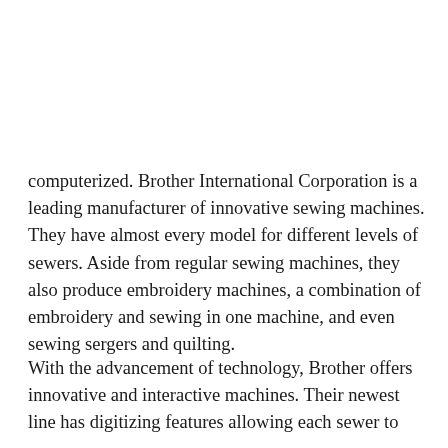computerized. Brother International Corporation is a leading manufacturer of innovative sewing machines. They have almost every model for different levels of sewers. Aside from regular sewing machines, they also produce embroidery machines, a combination of embroidery and sewing in one machine, and even sewing sergers and quilting.
With the advancement of technology, Brother offers innovative and interactive machines. Their newest line has digitizing features allowing each sewer to